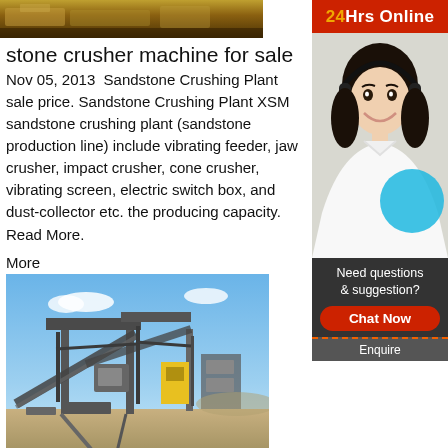[Figure (photo): Top partial photo of stone crusher machine, showing machinery equipment in yellow and brown tones]
stone crusher machine for sale
Nov 05, 2013  Sandstone Crushing Plant sale price. Sandstone Crushing Plant XSM sandstone crushing plant (sandstone production line) include vibrating feeder, jaw crusher, impact crusher, cone crusher, vibrating screen, electric switch box, and dust-collector etc. the producing capacity. Read More.
More
[Figure (photo): Photo of a large industrial stone crushing plant with conveyor belts and equipment under a blue sky]
Fote Machinery Professional Mining
Fote Heavy Machinery manufactures mining machinery, stone crushing, ore beneficiation, powder grinding machine and briquette machine, etc. High quality with our products have passed ISO9001, CE
[Figure (infographic): 24Hrs Online banner with red background and orange/white text]
[Figure (photo): Photo of a smiling woman with headset (customer service agent) with a cyan circle overlay]
Need questions & suggestion?
Chat Now
Enquire